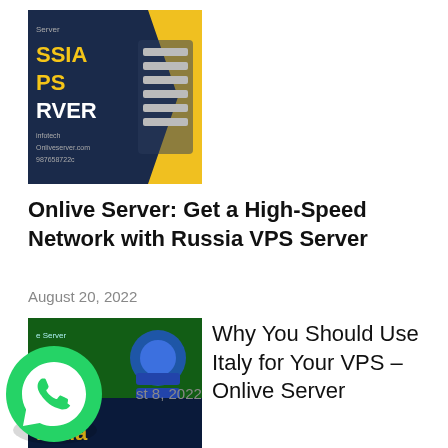[Figure (illustration): Russia VPS Server promotional thumbnail with dark blue and gold background, server rack image, and text 'RUSSIA VPS SERVER']
Onlive Server: Get a High-Speed Network with Russia VPS Server
August 20, 2022
[Figure (illustration): Italy VPS Server promotional thumbnail with green background, server stack graphic, and text 'Italy Server']
Why You Should Use Italy for Your VPS – Onlive Server
August 8, 2022
[Figure (illustration): Canada Server promotional thumbnail with dark blue background, partially visible]
[Figure (illustration): WhatsApp floating chat button icon]